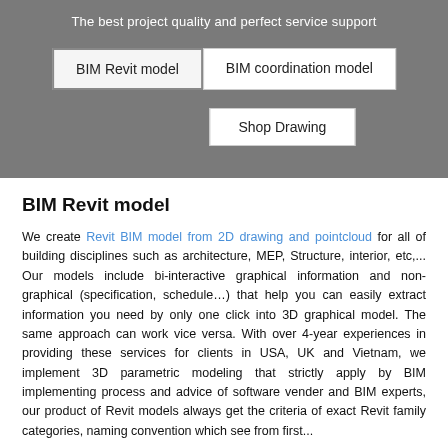The best project quality and perfect service support
BIM Revit model
BIM coordination model
Shop Drawing
BIM Revit model
We create Revit BIM model from 2D drawing and pointcloud for all of building disciplines such as architecture, MEP, Structure, interior, etc,... Our models include bi-interactive graphical information and non-graphical (specification, schedule…) that help you can easily extract information you need by only one click into 3D graphical model. The same approach can work vice versa. With over 4-year experiences in providing these services for clients in USA, UK and Vietnam, we implement 3D parametric modeling that strictly apply by BIM implementing process and advice of software vender and BIM experts, our product of Revit models always get the criteria of exact Revit family categories, naming convention which see from first...